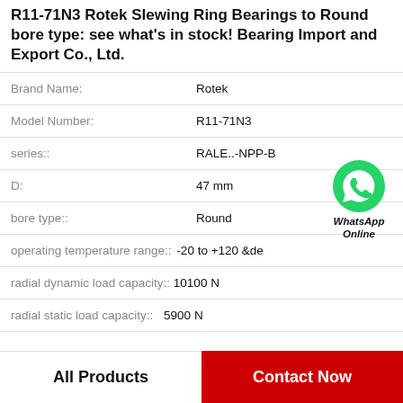R11-71N3 Rotek Slewing Ring Bearings to Round bore type: see what's in stock! Bearing Import and Export Co., Ltd.
| Property | Value |
| --- | --- |
| Brand Name: | Rotek |
| Model Number: | R11-71N3 |
| series:: | RALE..-NPP-B |
| D: | 47 mm |
| bore type:: | Round |
| operating temperature range:: | -20 to +120 &de |
| radial dynamic load capacity:: | 10100 N |
| radial static load capacity:: | 5900 N |
[Figure (logo): WhatsApp Online green phone icon with label 'WhatsApp Online']
All Products   Contact Now